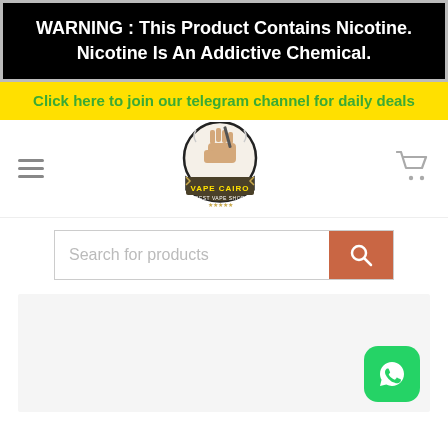WARNING : This Product Contains Nicotine. Nicotine Is An Addictive Chemical.
Click here to join our telegram channel for daily deals
[Figure (logo): Vape Cairo logo - fist holding a vape pen inside a badge shape with text VAPE CAIRO and BEST VAPE SHOP and five stars]
[Figure (other): Search bar with placeholder text 'Search for products' and orange search button]
[Figure (other): Light grey content area with WhatsApp green button at bottom right]